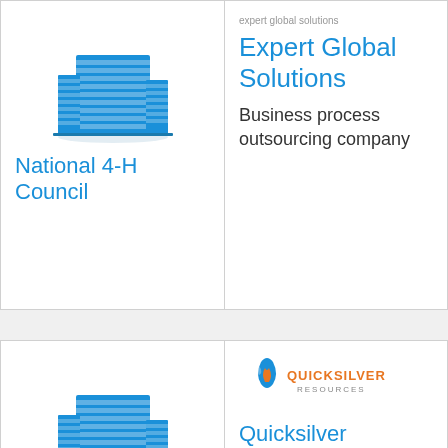[Figure (logo): Building/skyscraper icon for National 4-H Council]
National 4-H Council
[Figure (logo): Expert Global Solutions logo and building icon]
Expert Global Solutions
Business process outsourcing company
[Figure (logo): Building/skyscraper icon for Joint Commission]
Joint Commission
Health care company
[Figure (logo): Quicksilver Resources Inc. logo with flame and water drop]
Quicksilver Resources Inc.
Company
[Figure (logo): Building/skyscraper icon (bottom left)]
[Figure (logo): Building/skyscraper icon (bottom right)]